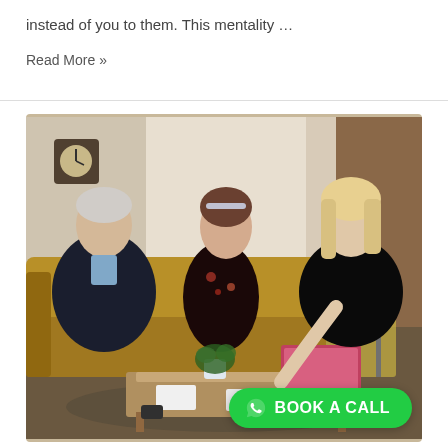instead of you to them. This mentality …
Read More »
[Figure (photo): Three people in a cosy office/living room setting — an older man in a dark suit with light blue shirt on the left, a young woman in a floral dress in the centre, and a blonde woman in black on the right — gathered around a coffee table looking at a pink laptop. A 'BOOK A CALL' button with a WhatsApp icon appears in the lower right of the image.]